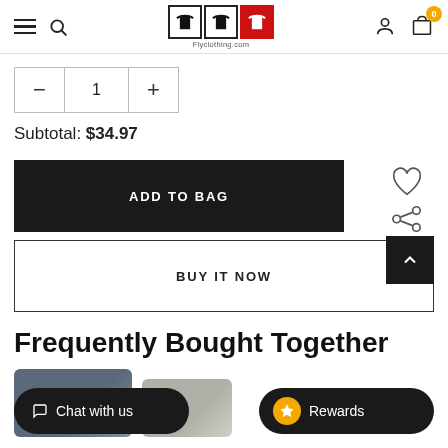FlyClothing.com navigation header with hamburger, search, logo, account, cart (0)
1
Subtotal: $34.97
ADD TO BAG
BUY IT NOW
Frequently Bought Together
[Figure (photo): Two product thumbnail images partially visible at bottom of page]
Chat with us
Rewards